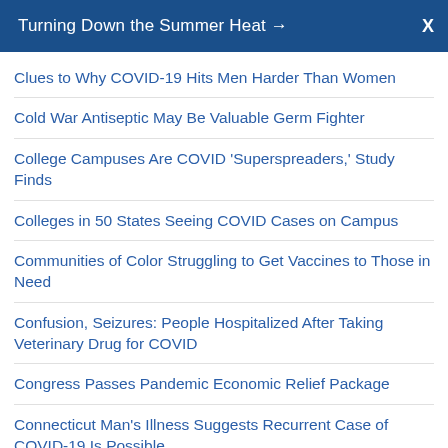Turning Down the Summer Heat →  X
Clues to Why COVID-19 Hits Men Harder Than Women
Cold War Antiseptic May Be Valuable Germ Fighter
College Campuses Are COVID 'Superspreaders,' Study Finds
Colleges in 50 States Seeing COVID Cases on Campus
Communities of Color Struggling to Get Vaccines to Those in Need
Confusion, Seizures: People Hospitalized After Taking Veterinary Drug for COVID
Congress Passes Pandemic Economic Relief Package
Connecticut Man's Illness Suggests Recurrent Case of COVID-19 Is Possible
Contact Tracing Useless Unless It's Speedy: Study